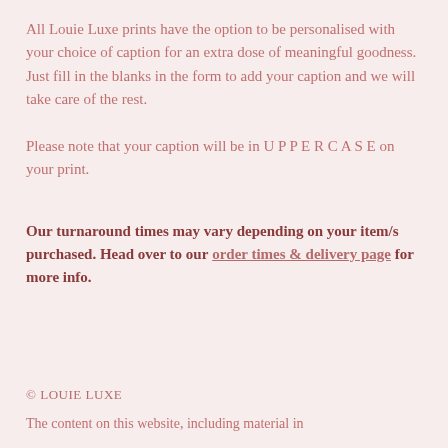All Louie Luxe prints have the option to be personalised with your choice of caption for an extra dose of meaningful goodness. Just fill in the blanks in the form to add your caption and we will take care of the rest.
Please note that your caption will be in U P P E R C A S E on your print.
Our turnaround times may vary depending on your item/s purchased. Head over to our order times & delivery page for more info.
© LOUIE LUXE
The content on this website, including material in